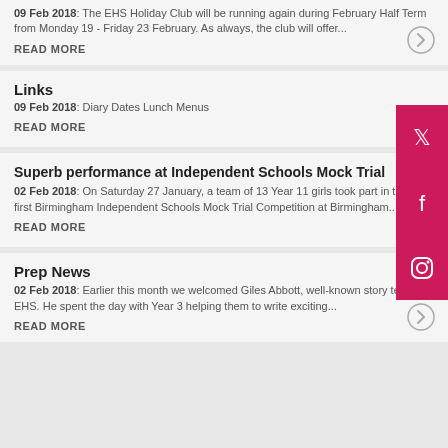09 Feb 2018: The EHS Holiday Club will be running again during February Half Term from Monday 19 - Friday 23 February. As always, the club will offer...
READ MORE
Links
09 Feb 2018: Diary Dates Lunch Menus
READ MORE
Superb performance at Independent Schools Mock Trial
02 Feb 2018: On Saturday 27 January, a team of 13 Year 11 girls took part in their first Birmingham Independent Schools Mock Trial Competition at Birmingham...
READ MORE
Prep News
02 Feb 2018: Earlier this month we welcomed Giles Abbott, well-known story teller, to EHS. He spent the day with Year 3 helping them to write exciting...
READ MORE